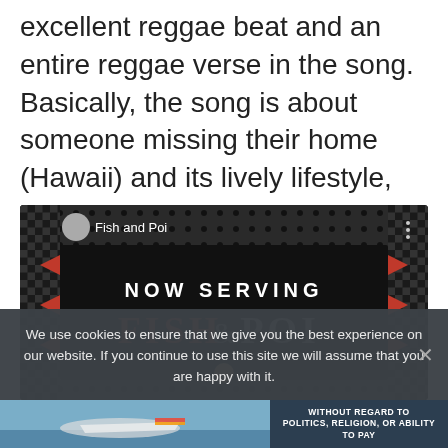excellent reggae beat and an entire reggae verse in the song. Basically, the song is about someone missing their home (Hawaii) and its lively lifestyle, especially the tasty dishes.
[Figure (screenshot): Video embed showing a restaurant sign reading 'NOW SERVING FISH & POI' with a decorative checkered border. Video title bar shows 'Fish and Poi' with avatar and menu dots.]
We use cookies to ensure that we give you the best experience on our website. If you continue to use this site we will assume that you are happy with it.
[Figure (photo): Advertisement banner showing an airplane on a tarmac with cargo loading, alongside a dark text box reading 'WITHOUT REGARD TO POLITICS, RELIGION, OR ABILITY TO PAY'.]